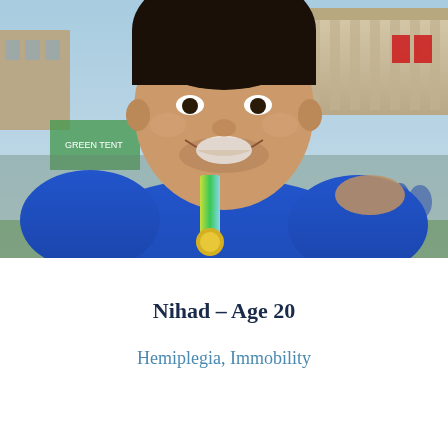[Figure (photo): A young man smiling outdoors at what appears to be a running event. He is wearing a blue t-shirt and has a green and blue medal ribbon around his neck. There is a crowd of people and buildings visible in the background on a sunny day.]
Nihad – Age 20
Hemiplegia, Immobility